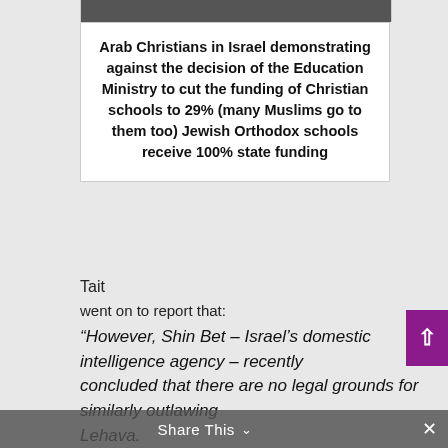[Figure (photo): Partial image strip at top showing Arab Christians demonstrating]
Arab Christians in Israel demonstrating against the decision of the Education Ministry to cut the funding of Christian schools to 29% (many Muslims go to them too) Jewish Orthodox schools receive 100% state funding
Tait
went on to report that:
“However, Shin Bet – Israel’s domestic intelligence agency – recently concluded that there are no legal grounds for similarly outlawing Lehava.